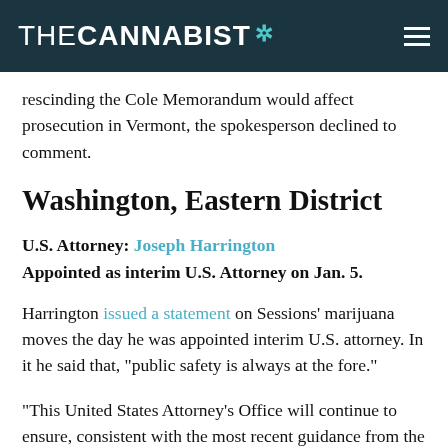THE CANNABIST
rescinding the Cole Memorandum would affect prosecution in Vermont, the spokesperson declined to comment.
Washington, Eastern District
U.S. Attorney: Joseph Harrington
Appointed as interim U.S. Attorney on Jan. 5.
Harrington issued a statement on Sessions’ marijuana moves the day he was appointed interim U.S. attorney. In it he said that, “public safety is always at the fore.”
“This United States Attorney’s Office will continue to ensure, consistent with the most recent guidance from the Department of Justice, that its enforcement